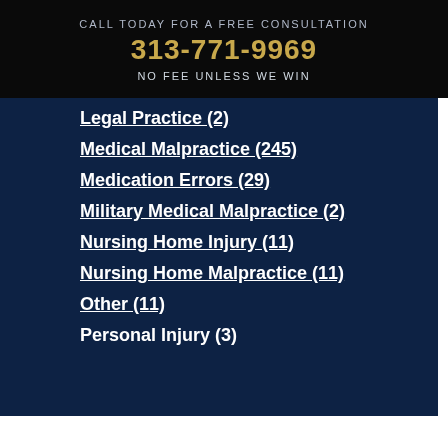CALL TODAY FOR A FREE CONSULTATION
313-771-9969
NO FEE UNLESS WE WIN
Legal Practice (2)
Medical Malpractice (245)
Medication Errors (29)
Military Medical Malpractice (2)
Nursing Home Injury (11)
Nursing Home Malpractice (11)
Other (11)
Personal Injury (3)